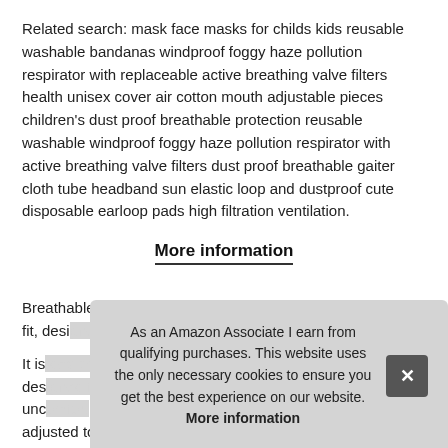Related search: mask face masks for childs kids reusable washable bandanas windproof foggy haze pollution respirator with replaceable active breathing valve filters health unisex cover air cotton mouth adjustable pieces children's dust proof breathable protection reusable washable windproof foggy haze pollution respirator with active breathing valve filters dust proof breathable gaiter cloth tube headband sun elastic loop and dustproof cute disposable earloop pads high filtration ventilation.
More information
Breathable, soft elastic ear loops, Lightweight, Comfortable fit, desi [partially obscured]
It is [partially obscured] des [partially obscured] unc [partially obscured] adjusted to meet most adults or kids face shapes
As an Amazon Associate I earn from qualifying purchases. This website uses the only necessary cookies to ensure you get the best experience on our website. More information